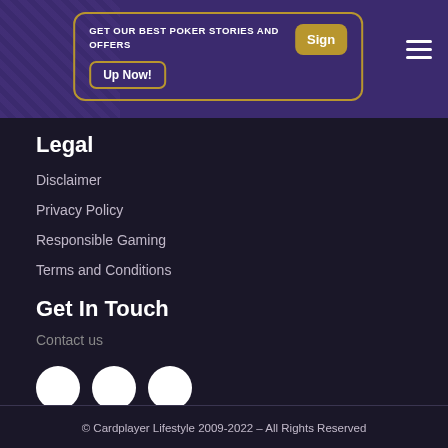GET OUR BEST POKER STORIES AND OFFERS Sign Up Now!
Legal
Disclaimer
Privacy Policy
Responsible Gaming
Terms and Conditions
Get In Touch
Contact us
[Figure (illustration): Three white circular social media icon buttons]
© Cardplayer Lifestyle 2009-2022 – All Rights Reserved